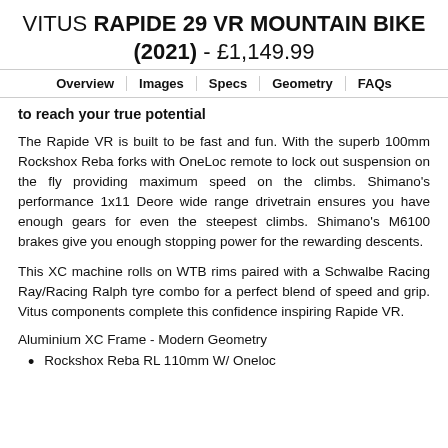VITUS RAPIDE 29 VR MOUNTAIN BIKE (2021) - £1,149.99
Overview | Images | Specs | Geometry | FAQs
to reach your true potential
The Rapide VR is built to be fast and fun. With the superb 100mm Rockshox Reba forks with OneLoc remote to lock out suspension on the fly providing maximum speed on the climbs. Shimano's performance 1x11 Deore wide range drivetrain ensures you have enough gears for even the steepest climbs. Shimano's M6100 brakes give you enough stopping power for the rewarding descents.
This XC machine rolls on WTB rims paired with a Schwalbe Racing Ray/Racing Ralph tyre combo for a perfect blend of speed and grip. Vitus components complete this confidence inspiring Rapide VR.
Aluminium XC Frame - Modern Geometry
Rockshox Reba RL 110mm W/ Oneloc